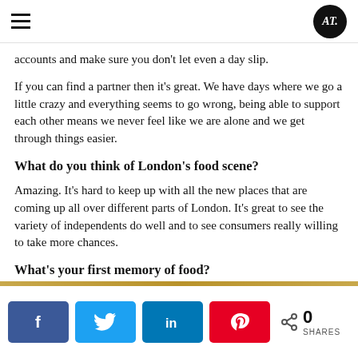AT
accounts and make sure you don’t let even a day slip.
If you can find a partner then it’s great. We have days where we go a little crazy and everything seems to go wrong, being able to support each other means we never feel like we are alone and we get through things easier.
What do you think of London’s food scene?
Amazing. It’s hard to keep up with all the new places that are coming up all over different parts of London. It’s great to see the variety of independents do well and to see consumers really willing to take more chances.
What’s your first memory of food?
[Figure (infographic): Social sharing buttons: Facebook, Twitter, LinkedIn, Pinterest; share count 0 SHARES]